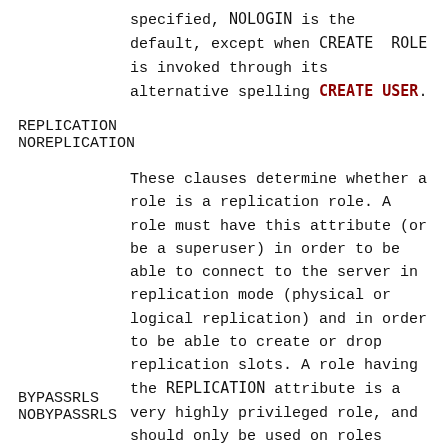specified, NOLOGIN is the default, except when CREATE ROLE is invoked through its alternative spelling CREATE USER.
REPLICATION
NOREPLICATION
These clauses determine whether a role is a replication role. A role must have this attribute (or be a superuser) in order to be able to connect to the server in replication mode (physical or logical replication) and in order to be able to create or drop replication slots. A role having the REPLICATION attribute is a very highly privileged role, and should only be used on roles actually used for replication. If not specified, NOREPLICATION is the default. You must be a superuser to create a new role having the REPLICATION attribute.
BYPASSRLS
NOBYPASSRLS